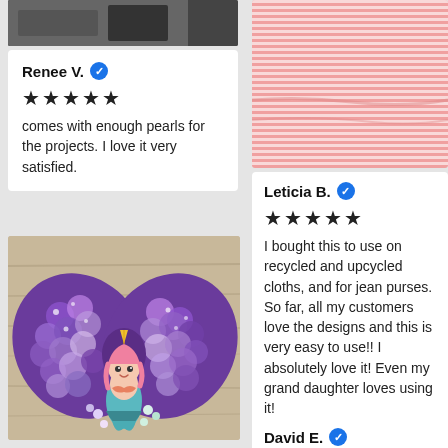[Figure (photo): Partial view of a dark product photo at the top of the left column]
Renee V. ✓
★★★★★
comes with enough pearls for the projects. I love it very satisfied.
[Figure (photo): Decorative unicorn mermaid hair bow with purple sequin scales on a wooden background]
[Figure (photo): Pink and white striped fabric texture photo]
Leticia B. ✓
★★★★★
I bought this to use on recycled and upcycled cloths, and for jean purses. So far, all my customers love the designs and this is very easy to use!! I absolutely love it! Even my grand daughter loves using it!
David E. ✓